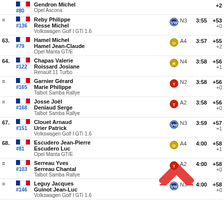#80 Gendron Michel / Opel Ascona, +2
= #136 Reby Philippe / Resse Michel / Volkswagen Golf I GTi 1.6, N3, 3:55, +53, +0
63. #79 Hamel Michel / Hamel Jean-Claude / Opel Manta GT/E, A4, 3:57, +55, +2
64. #122 Chapas Valerie / Roissard Josiane / Renault 11 Turbo, N4, 3:58, +56, +1
= #165 Garnier Gérard / Marie Philippe / Talbot Samba Rallye, N2, 3:58, +56, +0
= #168 Josse Joël / Deniaud Serge / Talbot Samba Rallye, A2, 3:58, +56, +0
67. #151 Clouet Arnaud / Urier Patrick / Volkswagen Golf I GTi 1.6, N3, 3:59, +57, +1
68. #81 Escudero Jean-Pierre / Escudero Luc / Opel Manta GT/E, A4, 4:00, +58, +1
= #103 Serreau Yves / Serreau Chantal / Talbot Samba Rallye, A2, 4:00, +58, +0
= #146 Leguy Jacques / Guinot Jean-Luc / Volkswagen Golf I GTi 1.6, N3, 4:00, +58, +0